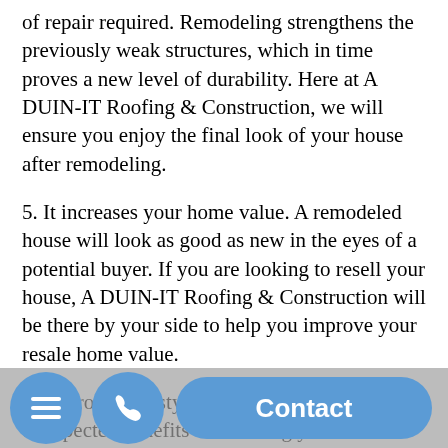of repair required. Remodeling strengthens the previously weak structures, which in time proves a new level of durability. Here at A DUIN-IT Roofing & Construction, we will ensure you enjoy the final look of your house after remodeling.
5. It increases your home value. A remodeled house will look as good as new in the eyes of a potential buyer. If you are looking to resell your house, A DUIN-IT Roofing & Construction will be there by your side to help you improve your resale home value.
6. Improved lifestyle. This is one of the unexpected benefits of fulfilling your Menifee home remodeling needs. If you have contaminated pipes or any part of your h[menu][phone]to it[...] ofe[...] re. with new ones. Ultimately, you will begin to notice